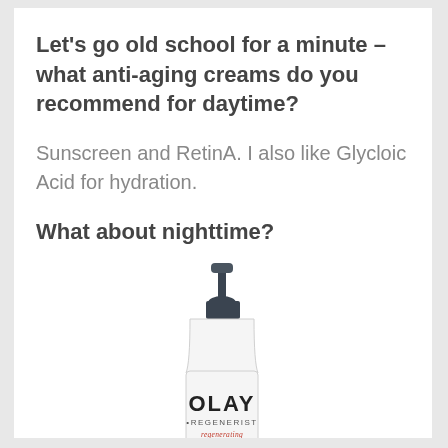Let's go old school for a minute –what anti-aging creams do you recommend for daytime?
Sunscreen and RetinA. I also like Glycloic Acid for hydration.
What about nighttime?
[Figure (photo): Olay Regenerist regenerating serum bottle with pump dispenser]